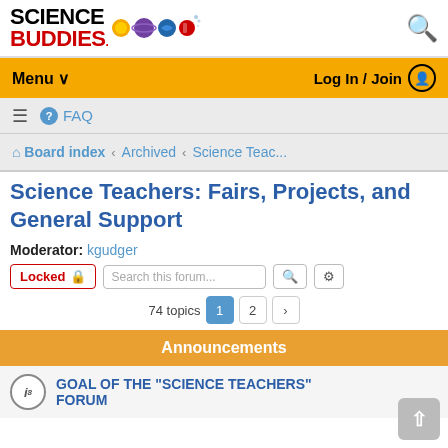[Figure (logo): Science Buddies logo with colored planet/atom icons]
Menu ∨   Log In / Join
≡  ? FAQ
Board index › Archived › Science Teac...
Science Teachers: Fairs, Projects, and General Support
Moderator: kgudger
Locked 🔒   Search this forum...
74 topics  1  2  ›
Announcements
GOAL OF THE "SCIENCE TEACHERS" FORUM